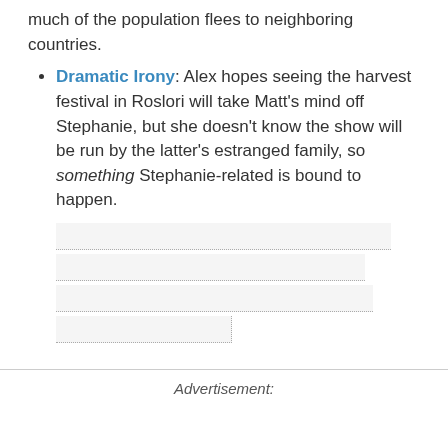much of the population flees to neighboring countries.
Dramatic Irony: Alex hopes seeing the harvest festival in Roslori will take Matt's mind off Stephanie, but she doesn't know the show will be run by the latter's estranged family, so something Stephanie-related is bound to happen.
Advertisement: